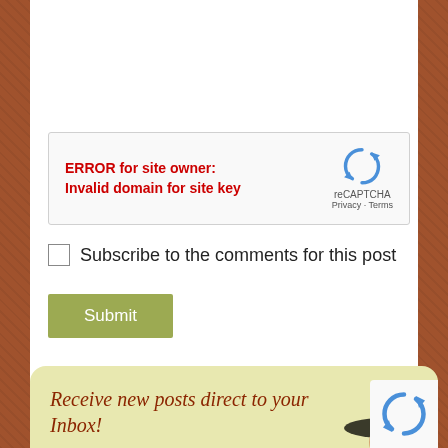[Figure (screenshot): Text area / comment input box with light yellow-green background]
ERROR for site owner:
Invalid domain for site key
[Figure (logo): reCAPTCHA logo with circular arrow icon, Privacy and Terms links]
Subscribe to the comments for this post
Submit
Receive new posts direct to your Inbox!
New Blog Articles
E-Newsletter
[Figure (illustration): Illustrated character wearing a sombrero hat and red shirt holding a basket]
[Figure (logo): reCAPTCHA icon overlay at bottom right]